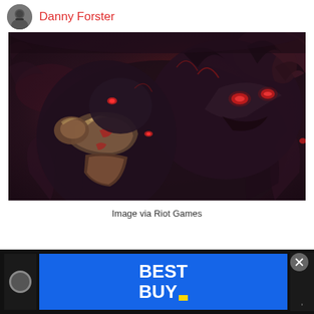Danny Forster
[Figure (illustration): Dark fantasy game art showing a large armored demonic creature with glowing red eyes, dark fur, and metallic armor pieces, holding what appears to be a smaller figure. The image is dark with red and purple tones — League of Legends character art from Riot Games.]
Image via Riot Games
[Figure (other): Best Buy advertisement banner at the bottom of the page showing the Best Buy logo in white text on a blue background with a yellow price tag icon.]